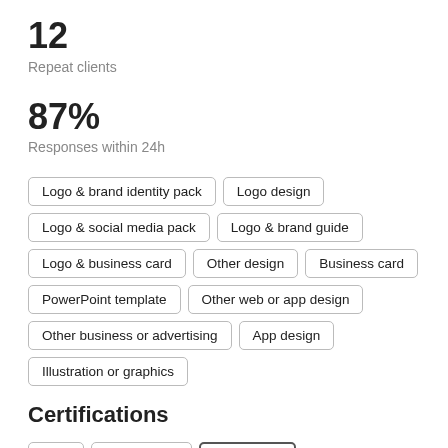12
Repeat clients
87%
Responses within 24h
Logo & brand identity pack
Logo design
Logo & social media pack
Logo & brand guide
Logo & business card
Other design
Business card
PowerPoint template
Other web or app design
Other business or advertising
App design
Illustration or graphics
Certifications
Print
Brand guide
Entry Level